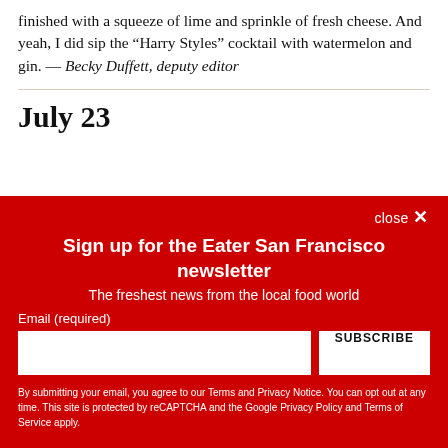finished with a squeeze of lime and sprinkle of fresh cheese. And yeah, I did sip the “Harry Styles” cocktail with watermelon and gin. — Becky Duffett, deputy editor
July 23
close ×
Sign up for the Eater San Francisco newsletter
The freshest news from the local food world
Email (required)
SUBSCRIBE
By submitting your email, you agree to our Terms and Privacy Notice. You can opt out at any time. This site is protected by reCAPTCHA and the Google Privacy Policy and Terms of Service apply.